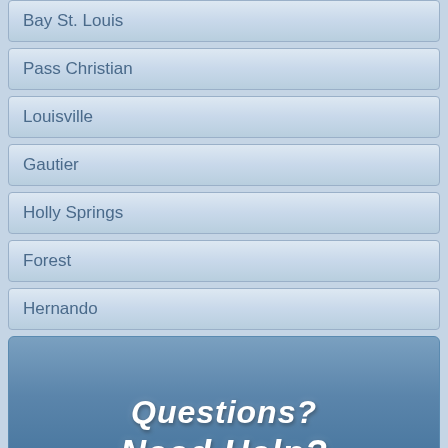Bay St. Louis
Pass Christian
Louisville
Gautier
Holly Springs
Forest
Hernando
[Figure (infographic): Blue gradient banner with white bold italic text reading 'Questions? Need Help?']
SPEAK WITH A COUNSELOR